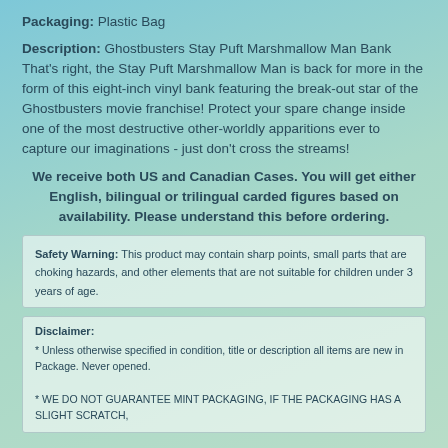Packaging: Plastic Bag
Description: Ghostbusters Stay Puft Marshmallow Man Bank That's right, the Stay Puft Marshmallow Man is back for more in the form of this eight-inch vinyl bank featuring the break-out star of the Ghostbusters movie franchise! Protect your spare change inside one of the most destructive other-worldly apparitions ever to capture our imaginations - just don't cross the streams!
We receive both US and Canadian Cases. You will get either English, bilingual or trilingual carded figures based on availability. Please understand this before ordering.
Safety Warning: This product may contain sharp points, small parts that are choking hazards, and other elements that are not suitable for children under 3 years of age.
Disclaimer:
* Unless otherwise specified in condition, title or description all items are new in Package. Never opened.
* WE DO NOT GUARANTEE MINT PACKAGING, IF THE PACKAGING HAS A SLIGHT SCRATCH,